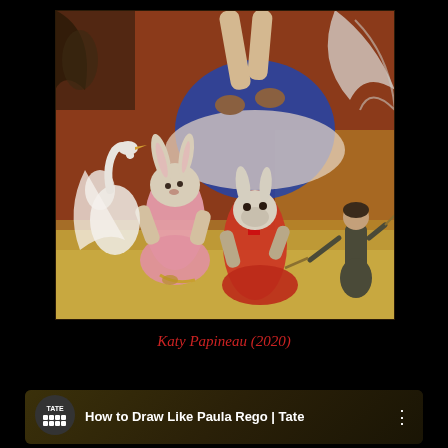[Figure (illustration): Paula Rego artwork showing anthropomorphic rabbit-headed figures in dresses, a large figure lifted above, and a woman in background. Painted in rich browns, reds, and earth tones.]
Katy Papineau (2020)
[Figure (screenshot): YouTube video thumbnail showing 'How to Draw Like Paula Rego | Tate' with Tate logo on dark background]